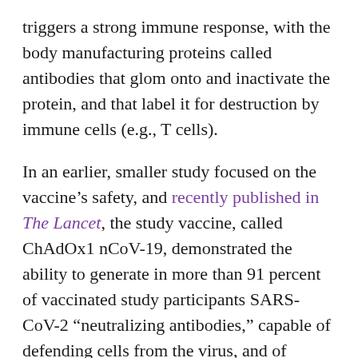triggers a strong immune response, with the body manufacturing proteins called antibodies that glom onto and inactivate the protein, and that label it for destruction by immune cells (e.g., T cells).
In an earlier, smaller study focused on the vaccine's safety, and recently published in The Lancet, the study vaccine, called ChAdOx1 nCoV-19, demonstrated the ability to generate in more than 91 percent of vaccinated study participants SARS-CoV-2 “neutralizing antibodies,” capable of defending cells from the virus, and of blocking its biological effects. The earlier study also found that study participants receiving the vaccine candidate, also called AZD1222, had mild flu-like symptoms, and